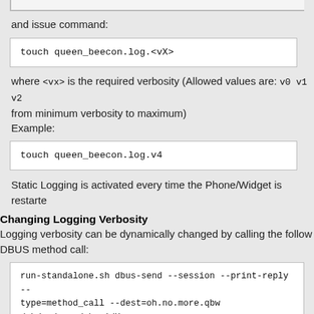and issue command:
touch queen_beecon.log.<vX>
where <vx> is the required verbosity (Allowed values are: v0 v1 v2 from minimum verbosity to maximum)
Example:
touch queen_beecon.log.v4
Static Logging is activated every time the Phone/Widget is restarted.
Changing Logging Verbosity
Logging verbosity can be dynamically changed by calling the following DBUS method call:
run-standalone.sh dbus-send --session --print-reply --type=method_call --dest=oh.no.more.qbw /oh/no/more/qbw<idX> oh.no.more.qbw.logger_action string:<vX>
<idx> is the QBW Instance ID of an existing QBW instance (no ma are so logging is global)